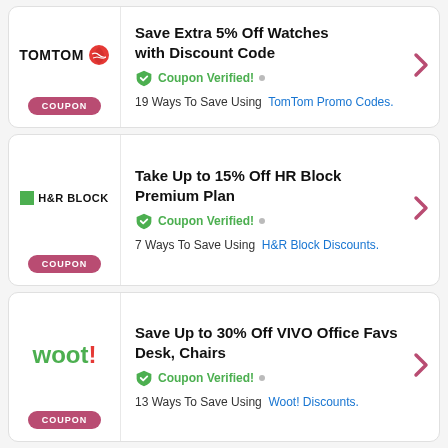[Figure (logo): TomTom logo with text and red globe icon]
Save Extra 5% Off Watches with Discount Code
Coupon Verified! • 19 Ways To Save Using TomTom Promo Codes.
[Figure (logo): H&R Block logo with green square]
Take Up to 15% Off HR Block Premium Plan
Coupon Verified! • 7 Ways To Save Using H&R Block Discounts.
[Figure (logo): Woot! logo in green with red exclamation mark]
Save Up to 30% Off VIVO Office Favs Desk, Chairs
Coupon Verified! • 13 Ways To Save Using Woot! Discounts.